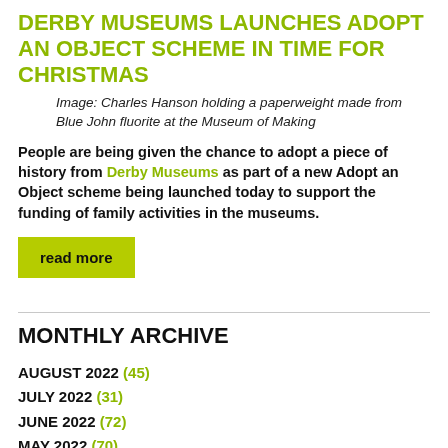DERBY MUSEUMS LAUNCHES ADOPT AN OBJECT SCHEME IN TIME FOR CHRISTMAS
Image: Charles Hanson holding a paperweight made from Blue John fluorite at the Museum of Making
People are being given the chance to adopt a piece of history from Derby Museums as part of a new Adopt an Object scheme being launched today to support the funding of family activities in the museums.
read more
MONTHLY ARCHIVE
AUGUST 2022 (45)
JULY 2022 (31)
JUNE 2022 (72)
MAY 2022 (70)
APRIL 2022 (84)